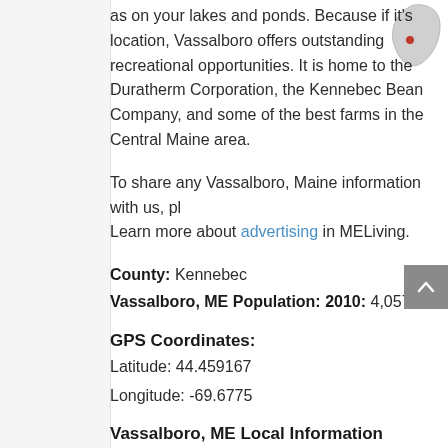as on your lakes and ponds. Because if its location, Vassalboro offers outstanding recreational opportunities. It is home to the Duratherm Corporation, the Kennebec Bean Company, and some of the best farms in the Central Maine area.
To share any Vassalboro, Maine information with us, pl... Learn more about advertising in MELiving.
County: Kennebec
Vassalboro, ME Population: 2010: 4,057
GPS Coordinates:
Latitude: 44.459167
Longitude: -69.6775
Vassalboro, ME Local Information
Vassalboro Police Dispatch: 911
Vassalboro Fire Department: 207-622-7811